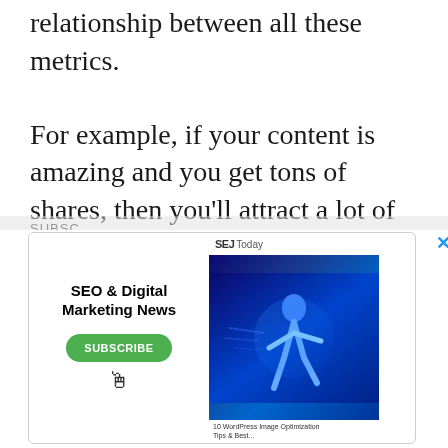relationship between all these metrics.
For example, if your content is amazing and you get tons of shares, then you'll attract a lot of channel subscribers, your watch time will increase and YouTube is more likely to help you amplify your content with their suggestion AI.
And you know what that means... more
[Figure (screenshot): Advertisement overlay showing SEO & Digital Marketing News newsletter subscription prompt with a green SUBSCRIBE button and SEJ Today branding with a blue-toned sports image on the right side. A close button (X) appears in the top right corner.]